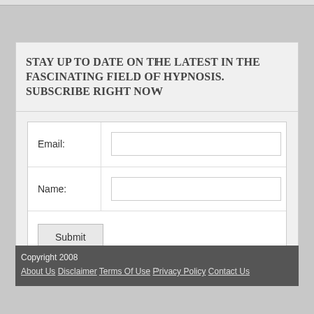STAY UP TO DATE ON THE LATEST IN THE FASCINATING FIELD OF HYPNOSIS. SUBSCRIBE RIGHT NOW
Email: [input field] Name: [input field] Submit
Copyright 2008 About Us Disclaimer Terms Of Use Privacy Policy Contact Us